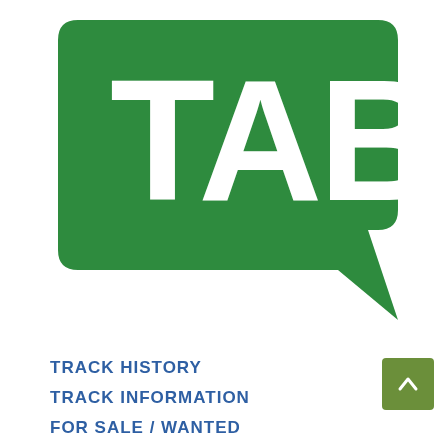[Figure (logo): TAB logo: a green speech-bubble/parallelogram shape with white bold letters 'TAB' in the upper portion and a pointed lower-right tail.]
TRACK HISTORY
TRACK INFORMATION
FOR SALE / WANTED